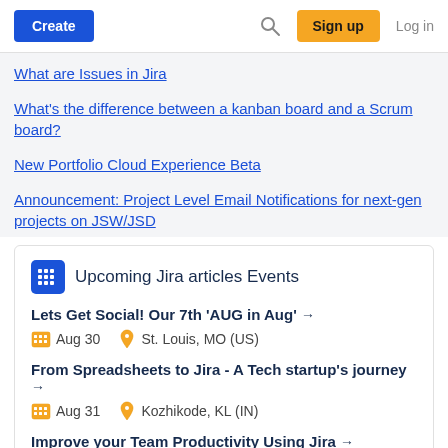Create | Sign up | Log in
What are Issues in Jira
What's the difference between a kanban board and a Scrum board?
New Portfolio Cloud Experience Beta
Announcement: Project Level Email Notifications for next-gen projects on JSW/JSD
Upcoming Jira articles Events
Lets Get Social! Our 7th 'AUG in Aug' →
Aug 30   St. Louis, MO (US)
From Spreadsheets to Jira - A Tech startup's journey →
Aug 31   Kozhikode, KL (IN)
Improve your Team Productivity Using Jira →